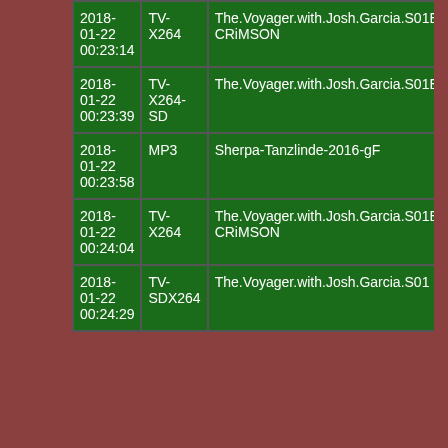| Date/Time | Type | Name |
| --- | --- | --- |
| 2018-01-22 00:23:14 | TV-X264 | The.Voyager.with.Josh.Garcia.S01E15.Kung.Fu.Master.720p.WEB.x264-CRiMSON |
| 2018-01-22 00:23:39 | TV-X264-SD | The.Voyager.with.Josh.Garcia.S01E15.Kung.Fu.Master.WEB.x264-CRiMSON |
| 2018-01-22 00:23:58 | MP3 | Sherpa-Tanzlinde-2016-gF |
| 2018-01-22 00:24:04 | TV-X264 | The.Voyager.with.Josh.Garcia.S01E16.Europe.Top.to.Bottom.720p.WEB.x264-CRiMSON |
| 2018-01-22 00:24:29 | TV-SDX264 | The.Voyager.with.Josh.Garcia.S01... |